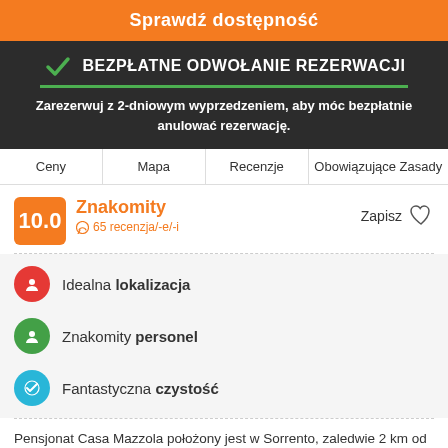Sprawdź dostępność
BEZPŁATNE ODWOŁANIE REZERWACJI
Zarezerwuj z 2-dniowym wyprzedzeniem, aby móc bezpłatnie anulować rezerwację.
Ceny
Mapa
Recenzje
Obowiązujące Zasady
10.0 Znakomity · 65 recenzja/-e/-i
Zapisz
Idealna lokalizacja
Znakomity personel
Fantastyczna czystość
Pensjonat Casa Mazzola położony jest w Sorrento, zaledwie 2 km od centrum Sorrento.